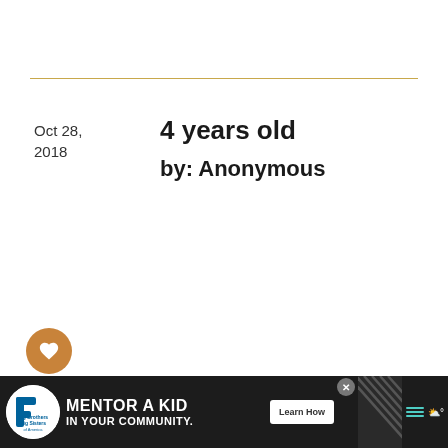Oct 28, 2018
4 years old
by: Anonymous
my daughter is a 4 year old kid..and until now she used to feed at night and day with her bottles, even
[Figure (infographic): Ad banner: Big Brothers Big Sisters logo on left, text MENTOR A KID IN YOUR COMMUNITY., Learn How button, decorative hatch pattern, and menu icon on right]
[Figure (infographic): What's Next panel: 8-Month-Old Baby Won't... with thumbnail image of baby]